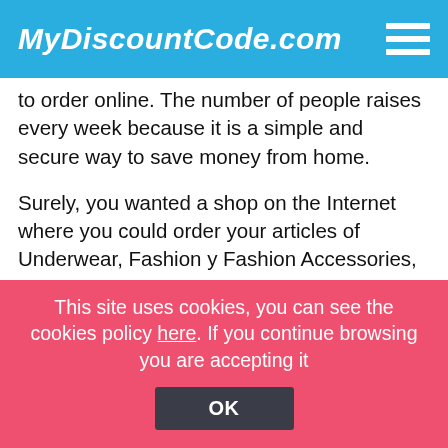MyDiscountCode.com
to order online. The number of people raises every week because it is a simple and secure way to save money from home.
Surely, you wanted a shop on the Internet where you could order your articles of Underwear, Fashion y Fashion Accessories, etc. we proudly present a really recognised online shop which will meet the needs of the most expert customer. The intention of our web site is that you can get the best savings when ordering from the Internet. Nowadays, Internet is synonym of safe purchases, moreover it allows you to find articles that can be hard to find in normal shops. In our opinion, saving some money when shopping
This site uses cookies, you can see the cookies policy here. If you continue browsing you are accepting it